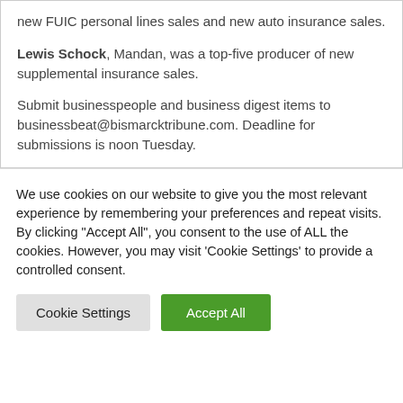new FUIC personal lines sales and new auto insurance sales.
Lewis Schock, Mandan, was a top-five producer of new supplemental insurance sales.
Submit businesspeople and business digest items to businessbeat@bismarcktribune.com. Deadline for submissions is noon Tuesday.
We use cookies on our website to give you the most relevant experience by remembering your preferences and repeat visits. By clicking "Accept All", you consent to the use of ALL the cookies. However, you may visit 'Cookie Settings' to provide a controlled consent.